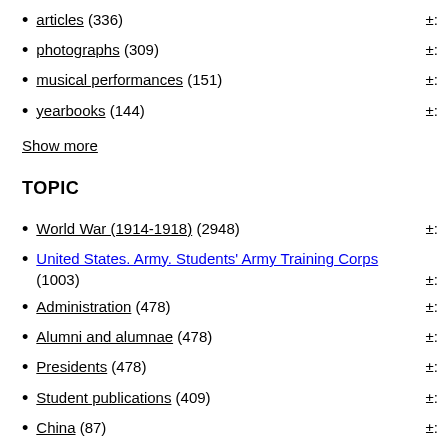articles (336)
photographs (309)
musical performances (151)
yearbooks (144)
Show more
TOPIC
World War (1914-1918) (2948)
United States. Army. Students' Army Training Corps (1003)
Administration (478)
Alumni and alumnae (478)
Presidents (478)
Student publications (409)
China (87)
American poetry–Women authors (63)